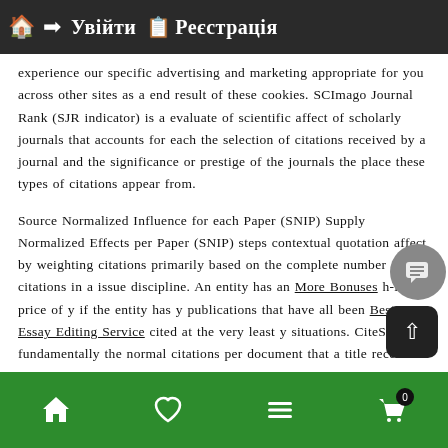Увійти  Реєстрація
experience our specific advertising and marketing appropriate for you across other sites as a end result of these cookies. SCImago Journal Rank (SJR indicator) is a evaluate of scientific affect of scholarly journals that accounts for each the selection of citations received by a journal and the significance or prestige of the journals the place these types of citations appear from.
Source Normalized Influence for each Paper (SNIP) Supply Normalized Effects per Paper (SNIP) steps contextual quotation affect by weighting citations primarily based on the complete number of citations in a issue discipline. An entity has an More Bonuses h-index price of y if the entity has y publications that have all been Best Free Essay Editing Service cited at the very least y situations. CiteScore is fundamentally the normal citations per document that a title receives more than a a few-year period.
Our three member workforce of peer reviewers for top rated jo senior science editors with twent.
🏠 ♡ ≡ 🛒 0